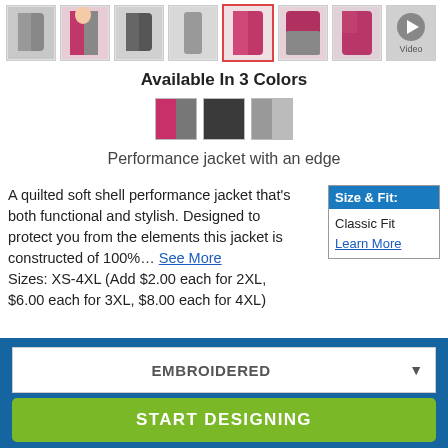[Figure (photo): Row of 8 product thumbnail images of a jacket in various colors and angles, plus a video button thumbnail]
Available In 3 Colors
[Figure (infographic): Three color swatches: pink/grey split, dark charcoal, and medium grey]
Performance jacket with an edge
A quilted soft shell performance jacket that's both functional and stylish. Designed to protect you from the elements this jacket is constructed of 100%... See More
Sizes: XS-4XL (Add $2.00 each for 2XL, $6.00 each for 3XL, $8.00 each for 4XL)
Size & Fit:
Classic Fit
Learn More
EMBROIDERED
START DESIGNING